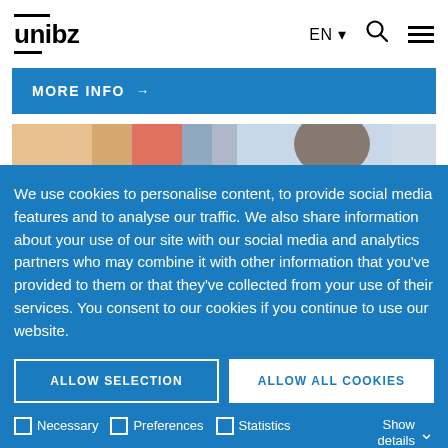unibz — EN — search — menu
MORE INFO →
[Figure (photo): Blurred photo of a person in a library or study environment]
We use cookies to personalise content, to provide social media features and to analyse our traffic. We also share information about your use of our site with our social media and analytics partners who may combine it with other information that you've provided to them or that they've collected from your use of their services. You consent to our cookies if you continue to use our website.
ALLOW SELECTION
ALLOW ALL COOKIES
Necessary   Preferences   Statistics   Marketing   Show details